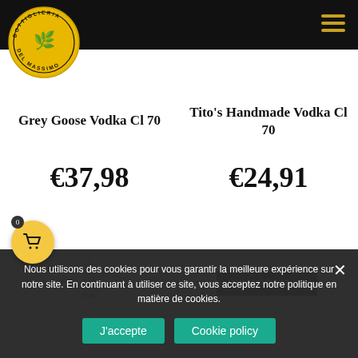Bottiglieria Del Massimo (logo + navigation header)
Grey Goose Vodka Cl 70
€37,98
Tito's Handmade Vodka Cl 70
€24,91
INDISPONIBLE
Nous utilisons des cookies pour vous garantir la meilleure expérience sur notre site. En continuant à utiliser ce site, vous acceptez notre politique en matière de cookies.
J'accepte
Cookie policy